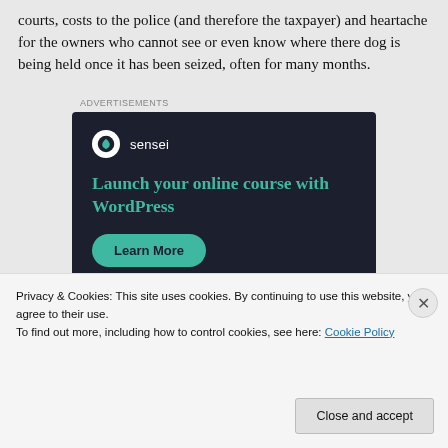courts, costs to the police (and therefore the taxpayer) and heartache for the owners who cannot see or even know where there dog is being held once it has been seized, often for many months.
Advertisements
[Figure (other): Advertisement for Sensei plugin: dark navy background, Sensei logo (white circle with tree icon), brand name 'sensei', headline 'Launch your online course with WordPress' in teal, and a teal 'Learn More' button.]
Privacy & Cookies: This site uses cookies. By continuing to use this website, you agree to their use.
To find out more, including how to control cookies, see here: Cookie Policy